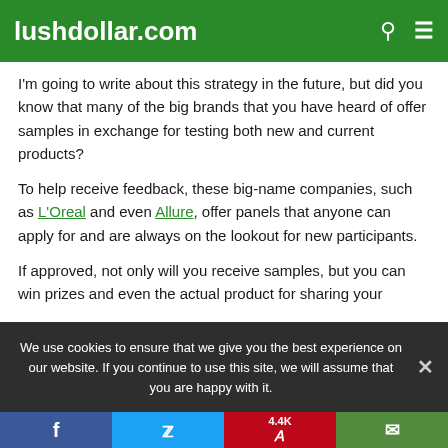lushdollar.com
I'm going to write about this strategy in the future, but did you know that many of the big brands that you have heard of offer samples in exchange for testing both new and current products?
To help receive feedback, these big-name companies, such as L'Oreal and even Allure, offer panels that anyone can apply for and are always on the lookout for new participants.
If approved, not only will you receive samples, but you can win prizes and even the actual product for sharing your
We use cookies to ensure that we give you the best experience on our website. If you continue to use this site, we will assume that you are happy with it.